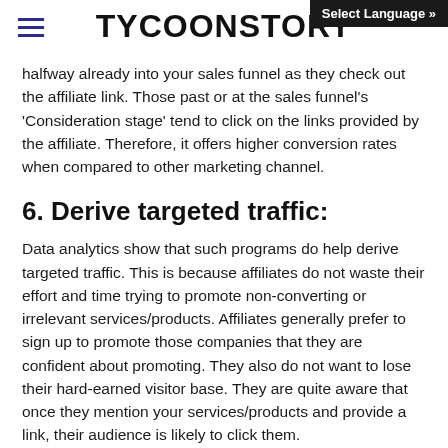TYCOONSTORY
halfway already into your sales funnel as they check out the affiliate link. Those past or at the sales funnel's 'Consideration stage' tend to click on the links provided by the affiliate. Therefore, it offers higher conversion rates when compared to other marketing channel.
6. Derive targeted traffic:
Data analytics show that such programs do help derive targeted traffic. This is because affiliates do not waste their effort and time trying to promote non-converting or irrelevant services/products. Affiliates generally prefer to sign up to promote those companies that they are confident about promoting. They also do not want to lose their hard-earned visitor base. They are quite aware that once they mention your services/products and provide a link, their audience is likely to click them.